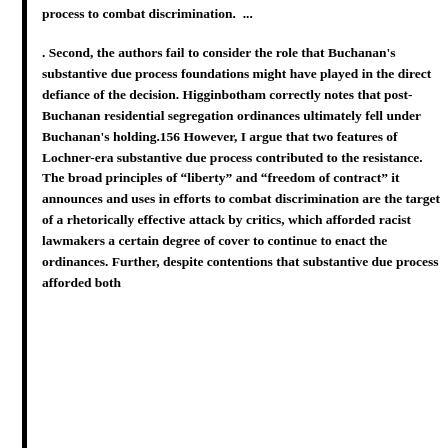process to combat discrimination.  ...
. Second, the authors fail to consider the role that Buchanan's substantive due process foundations might have played in the direct defiance of the decision. Higginbotham correctly notes that post-Buchanan residential segregation ordinances ultimately fell under Buchanan's holding.156 However, I argue that two features of Lochner-era substantive due process contributed to the resistance. The broad principles of “liberty” and “freedom of contract” it announces and uses in efforts to combat discrimination are the target of a rhetorically effective attack by critics, which afforded racist lawmakers a certain degree of cover to continue to enact the ordinances. Further, despite contentions that substantive due process afforded both